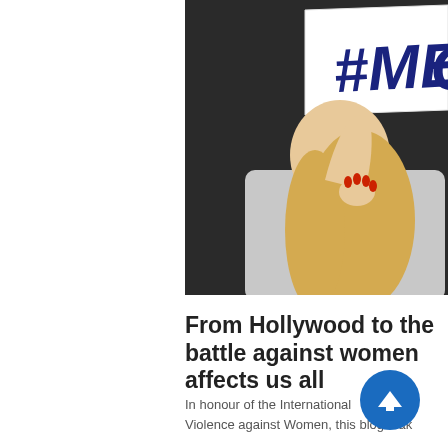[Figure (photo): A woman holding a white sign with '#METO' (MeToo hashtag) written in dark blue bold letters, cropping her face. She has blonde hair, red fingernails, and is wearing a light grey top. The background is dark/black.]
From Hollywood to the battle against women affects us all
In honour of the International Day for the Elimination of Violence against Women, this blog mak...